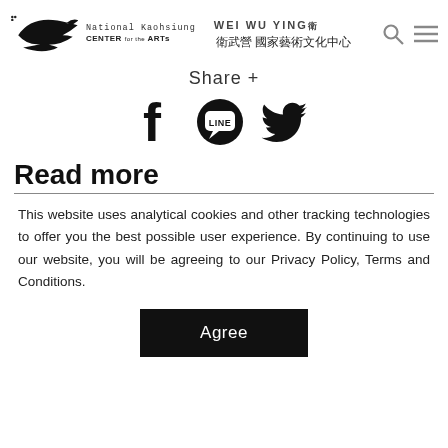[Figure (logo): National Kaohsiung Center for the Arts (Weiwuying) logo with bird silhouette and Chinese text 衛武營 國家藝術文化中心]
Share +
[Figure (infographic): Social media share icons: Facebook, LINE, Twitter]
Read more
This website uses analytical cookies and other tracking technologies to offer you the best possible user experience. By continuing to use our website, you will be agreeing to our Privacy Policy, Terms and Conditions.
Agree